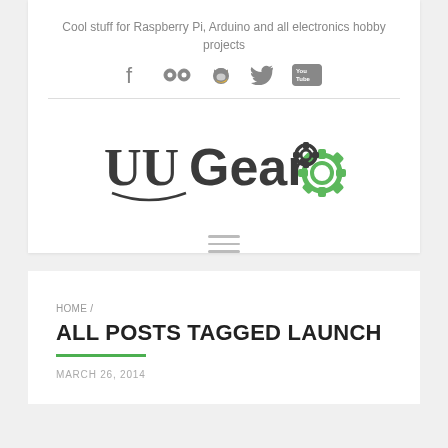Cool stuff for Raspberry Pi, Arduino and all electronics hobby projects
[Figure (infographic): Social media icons: Facebook, Flickr, GitHub, Twitter, YouTube]
[Figure (logo): UUGear logo with gear icons]
[Figure (infographic): Hamburger menu icon (three horizontal lines)]
HOME /
ALL POSTS TAGGED LAUNCH
MARCH 26, 2014